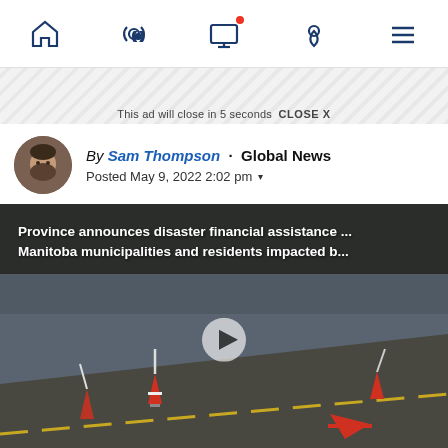Navigation bar with home, radio, screen, location, and menu icons
This ad will close in 5 seconds  CLOSE X
By Sam Thompson · Global News
Posted May 9, 2022 2:02 pm
[Figure (screenshot): Video thumbnail showing a flooded road with traffic cones/posts submerged in water, dark treeline in background. White play button in center. Caption overlay reads: Province announces disaster financial assistance ... Manitoba municipalities and residents impacted b...]